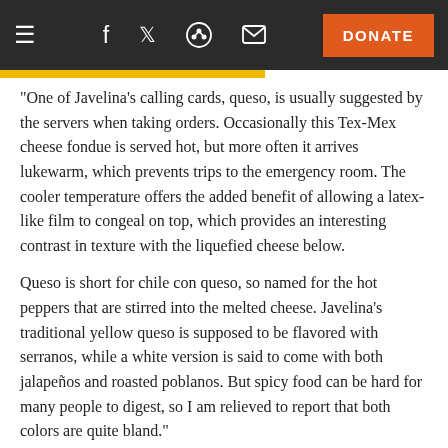Navigation bar with hamburger menu, social icons (Facebook, Twitter, Reddit, Email), and DONATE button
"One of Javelina's calling cards, queso, is usually suggested by the servers when taking orders. Occasionally this Tex-Mex cheese fondue is served hot, but more often it arrives lukewarm, which prevents trips to the emergency room. The cooler temperature offers the added benefit of allowing a latex-like film to congeal on top, which provides an interesting contrast in texture with the liquefied cheese below.
Queso is short for chile con queso, so named for the hot peppers that are stirred into the melted cheese. Javelina’s traditional yellow queso is supposed to be flavored with serranos, while a white version is said to come with both jalapeños and roasted poblanos. But spicy food can be hard for many people to digest, so I am relieved to report that both colors are quite bland."
9 ∧ | ∨
amywinns ► Jake Davis